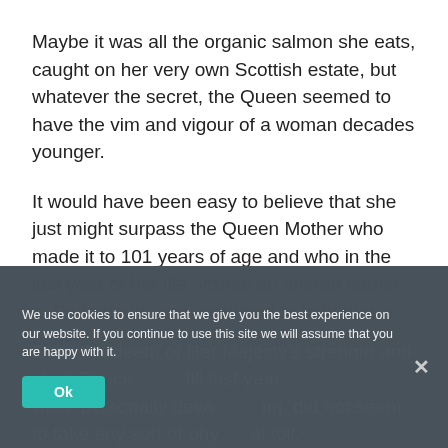Maybe it was all the organic salmon she eats, caught on her very own Scottish estate, but whatever the secret, the Queen seemed to have the vim and vigour of a woman decades younger.
It would have been easy to believe that she just might surpass the Queen Mother who made it to 101 years of age and who in the last year of her life, visited an aircraft carrier at Portsmouth and continued to hold house parties.
Even the death of Her Majesty's strength and stay" Prince ... till last year, while personally devastating, did not seem to take any sort of physical toll.
We use cookies to ensure that we give you the best experience on our website. If you continue to use this site we will assume that you are happy with it.